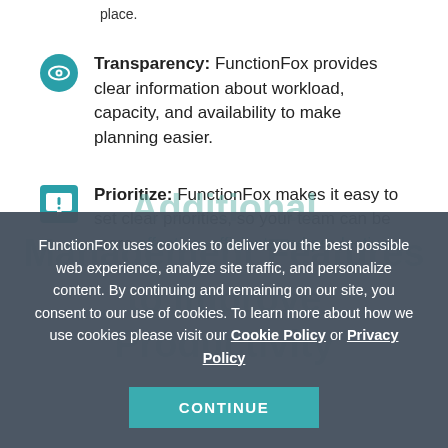place.
Transparency: FunctionFox provides clear information about workload, capacity, and availability to make planning easier.
Prioritize: FunctionFox makes it easy to set clear priorities, so your team can be more effective, efficient, and productive.
Additional Management Features to Improve Productivity
FunctionFox uses cookies to deliver you the best possible web experience, analyze site traffic, and personalize content. By continuing and remaining on our site, you consent to our use of cookies. To learn more about how we use cookies please visit our Cookie Policy or Privacy Policy
CONTINUE